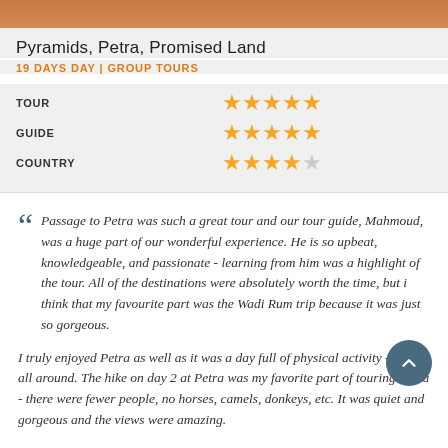[Figure (photo): Top image strip showing tour/travel photo in warm orange-brown tones]
Pyramids, Petra, Promised Land
19 DAYS DAY | GROUP TOURS
| Category | Rating |
| --- | --- |
| TOUR | 5 stars |
| GUIDE | 5 stars |
| COUNTRY | 4 stars |
Passage to Petra was such a great tour and our tour guide, Mahmoud, was a huge part of our wonderful experience. He is so upbeat, knowledgeable, and passionate - learning from him was a highlight of the tour. All of the destinations were absolutely worth the time, but i think that my favourite part was the Wadi Rum trip because it was just so gorgeous.
I truly enjoyed Petra as well as it was a day full of physical activity - hiking all around. The hike on day 2 at Petra was my favorite part of touring Petra - there were fewer people, no horses, camels, donkeys, etc. It was quiet and gorgeous and the views were amazing.